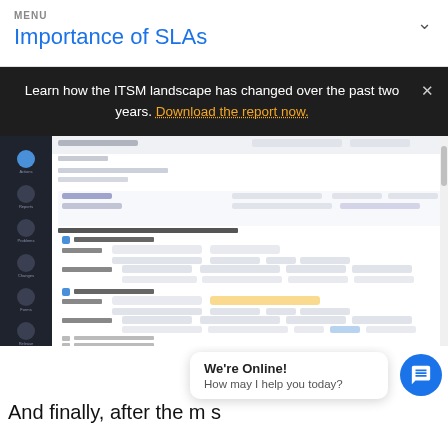MENU
Importance of SLAs
Learn how the ITSM landscape has changed over the past two years. Download the report now.
[Figure (screenshot): Screenshot of an ITSM software interface showing SLA escalation settings with sidebar navigation, fields for escalation configuration, level 1 escalation, level 2 escalation options, and various dropdowns for group, technician, priority, and level settings.]
We're Online! How may I help you today?
And finally, after the... m s...